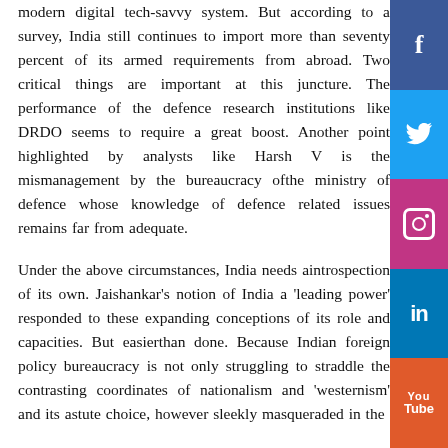modern digital tech-savvy system. But according to a survey, India still continues to import more than seventy percent of its armed requirements from abroad. Two critical things are important at this juncture. The performance of the defence research institutions like DRDO seems to require a great boost. Another point highlighted by analysts like Harsh V is the mismanagement by the bureaucracy of the ministry of defence whose knowledge of defence related issues remains far from adequate.
Under the above circumstances, India needs a introspection of its own. Jaishankar's notion of India a 'leading power' responded to these expanding conceptions of its role and capacities. But easier said than done. Because Indian foreign policy bureaucracy is not only struggling to straddle the contrasting coordinates of nationalism and 'westernism' and its astute choice, however sleekly masqueraded in the